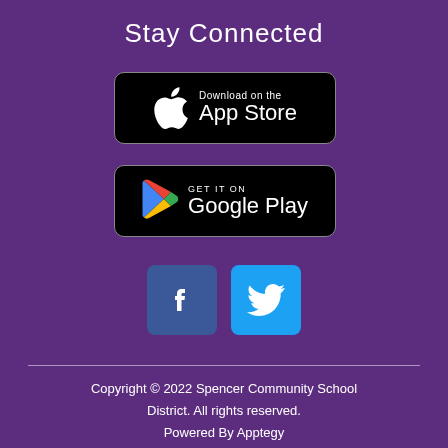Stay Connected
[Figure (logo): App Store download button with Apple logo]
[Figure (logo): Google Play download button with Play Store logo]
[Figure (logo): Facebook and Twitter social media icons]
Copyright © 2022 Spencer Community School District. All rights reserved. Powered By Apptegy